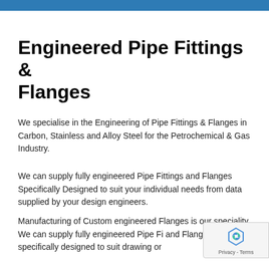Engineered Pipe Fittings & Flanges
We specialise in the Engineering of Pipe Fittings & Flanges in Carbon, Stainless and Alloy Steel for the Petrochemical & Gas Industry.
We can supply fully engineered Pipe Fittings and Flanges Specifically Designed to suit your individual needs from data supplied by your design engineers.
Manufacturing of Custom engineered Flanges is our speciality. We can supply fully engineered Pipe Fittings and Flanges specifically designed to suit drawing or